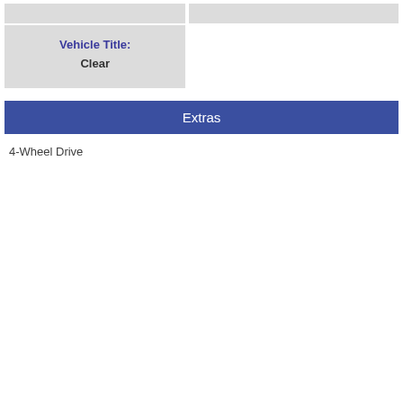|  |  |
| Vehicle Title: |  |
| --- | --- |
| Clear |  |
Extras
4-Wheel Drive